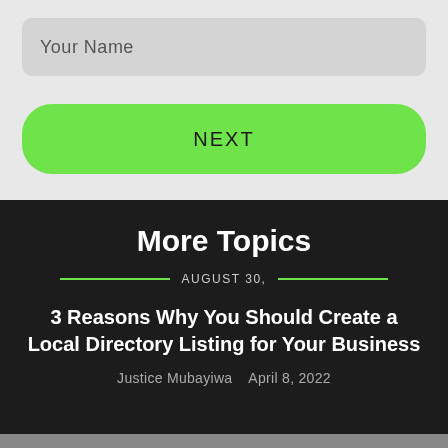Your Name
NEXT
More Topics
AUGUST 30,
3 Reasons Why You Should Create a Local Directory Listing for Your Business
Justice Mubayiwa   April 8, 2022